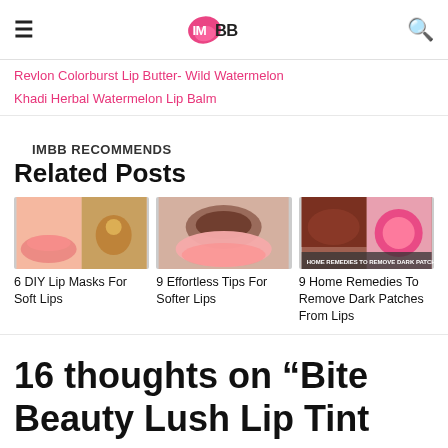IMBB logo with hamburger menu and search icon
Revlon Colorburst Lip Butter- Wild Watermelon
Khadi Herbal Watermelon Lip Balm
IMBB RECOMMENDS
Related Posts
[Figure (photo): 6 DIY Lip Masks For Soft Lips - collage of lip care images]
6 DIY Lip Masks For Soft Lips
[Figure (photo): 9 Effortless Tips For Softer Lips - lip scrub and pink lips]
9 Effortless Tips For Softer Lips
[Figure (photo): 9 Home Remedies To Remove Dark Patches From Lips]
9 Home Remedies To Remove Dark Patches From Lips
16 thoughts on “Bite Beauty Lush Lip Tint